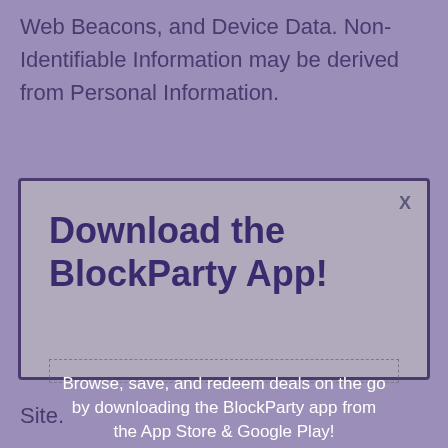Web Beacons, and Device Data. Non-Identifiable Information may be derived from Personal Information.
[Figure (screenshot): Modal popup dialog with title 'Download the BlockParty App!' and description 'Browse, save, and redeem deals on the go by downloading the BlockParty app from the App Store & Google Play!' with App Store and Google Play icons, and an X close button in the top right corner.]
Site.